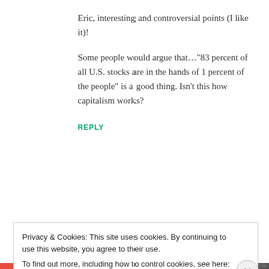Eric, interesting and controversial points (I like it)!
Some people would argue that…“83 percent of all U.S. stocks are in the hands of 1 percent of the people” is a good thing. Isn’t this how capitalism works?
REPLY
Back up your site
Privacy & Cookies: This site uses cookies. By continuing to use this website, you agree to their use.
To find out more, including how to control cookies, see here: Cookie Policy
Close and accept